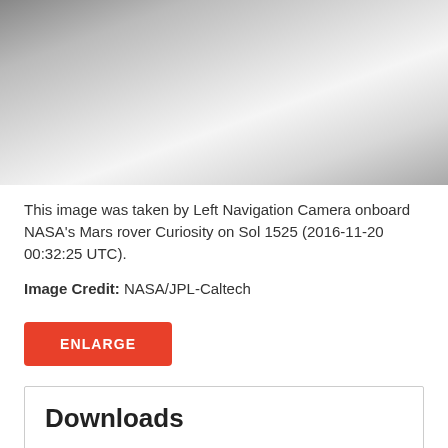[Figure (photo): Grayscale image taken by Left Navigation Camera onboard NASA's Mars rover Curiosity, showing a washed-out, overexposed Martian surface scene.]
This image was taken by Left Navigation Camera onboard NASA's Mars rover Curiosity on Sol 1525 (2016-11-20 00:32:25 UTC).
Image Credit: NASA/JPL-Caltech
ENLARGE
Downloads